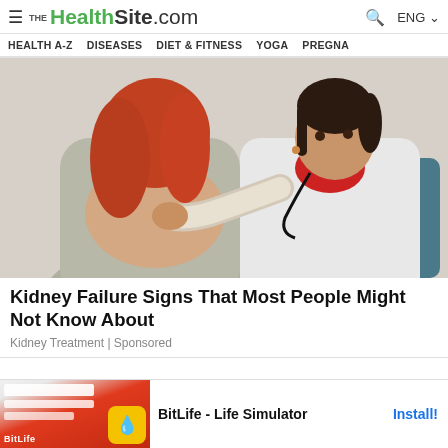THE HealthSite.com | ENG
HEALTH A-Z   DISEASES   DIET & FITNESS   YOGA   PREGNA
[Figure (photo): A doctor in a white coat examining a red-haired female patient's back, both seated]
Kidney Failure Signs That Most People Might Not Know About
Kidney Treatment | Sponsored
[Figure (screenshot): BitLife - Life Simulator advertisement banner with Install button]